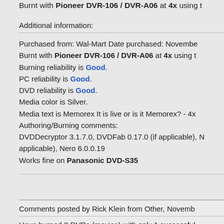Burnt with Pioneer DVR-106 / DVR-A06 at 4x using ...
Additional information:
Purchased from: Wal-Mart Date purchased: November... Burnt with Pioneer DVR-106 / DVR-A06 at 4x using ... Burning reliability is Good. PC reliability is Good. DVD reliability is Good. Media color is Silver. Media text is Memorex It is live or is it Memorex? - 4x... Authoring/Burning comments: DVDDecryptor 3.1.7.0, DVDFab 0.17.0 (if applicable), ... applicable), Nero 6.0.0.19 Works fine on Panasonic DVD-S35
Comments posted by Rick Klein from Other, November...
Have burned 3 DVDs (movies) with only 1 successful.